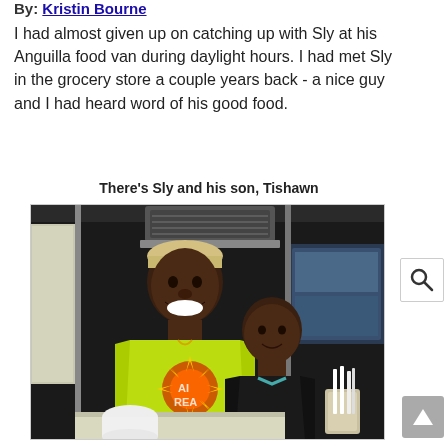By: Kristin Bourne
I had almost given up on catching up with Sly at his Anguilla food van during daylight hours. I had met Sly in the grocery store a couple years back - a nice guy and I had heard word of his good food.
There's Sly and his son, Tishawn
[Figure (photo): Photo of Sly and his son Tishawn standing inside a food van. Sly is wearing a bright yellow-green t-shirt with a graphic print and a light-colored headband, smiling broadly. His son Tishawn stands beside/behind him wearing a dark shirt. There is an air conditioning unit visible above them in the background.]